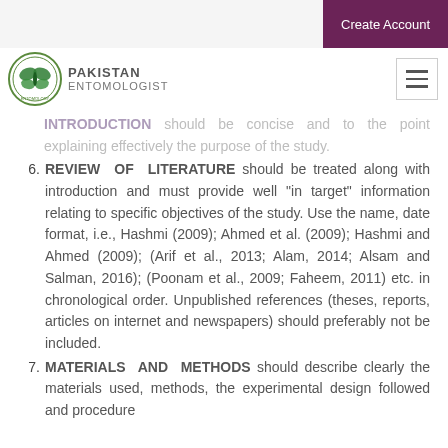Create Account | Pakistan Entomologist
INTRODUCTION should be concise and to the point explaining effectively the purpose of the study.
6. REVIEW OF LITERATURE should be treated along with introduction and must provide well "in target" information relating to specific objectives of the study. Use the name, date format, i.e., Hashmi (2009); Ahmed et al. (2009); Hashmi and Ahmed (2009); (Arif et al., 2013; Alam, 2014; Alsam and Salman, 2016); (Poonam et al., 2009; Faheem, 2011) etc. in chronological order. Unpublished references (theses, reports, articles on internet and newspapers) should preferably not be included.
7. MATERIALS AND METHODS should describe clearly the materials used, methods, the experimental design followed and procedure